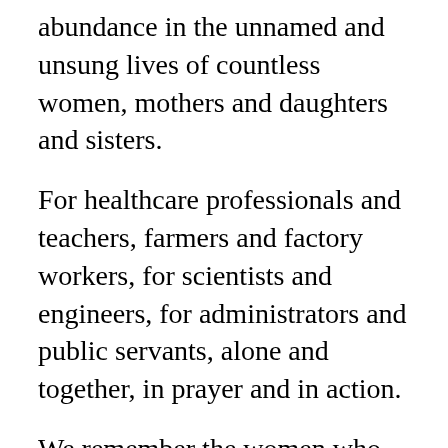abundance in the unnamed and unsung lives of countless women, mothers and daughters and sisters.
For healthcare professionals and teachers, farmers and factory workers, for scientists and engineers, for administrators and public servants, alone and together, in prayer and in action.
We remember the women who have loved us, led us, inspired and moved us in the service of Jesus and of one another, giving thanks especially today for mothers everywhere and for our own mothers.
Nurturing God, we give thanks
for women who minister in raising families;